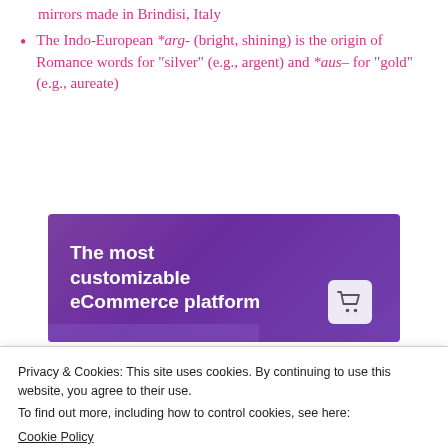mirrors made in Brindisi, Italy
The Indo-European *arg- (bright, shining) is the origin of Romance words for "silver" (e.g., argent) and *aus– for "gold" (e.g., aureate)
[Figure (other): Advertisement banner for 'The most customizable eCommerce platform' with purple background and shopping cart icon]
Privacy & Cookies: This site uses cookies. By continuing to use this website, you agree to their use.
To find out more, including how to control cookies, see here:
Cookie Policy
Close and accept